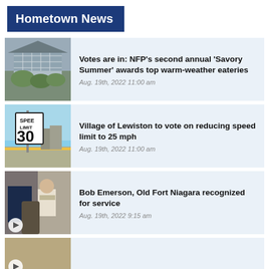Hometown News
Votes are in: NFP's second annual 'Savory Summer' awards top warm-weather eateries
Aug. 19th, 2022 11:00 am
Village of Lewiston to vote on reducing speed limit to 25 mph
Aug. 19th, 2022 11:00 am
Bob Emerson, Old Fort Niagara recognized for service
Aug. 19th, 2022 9:15 am